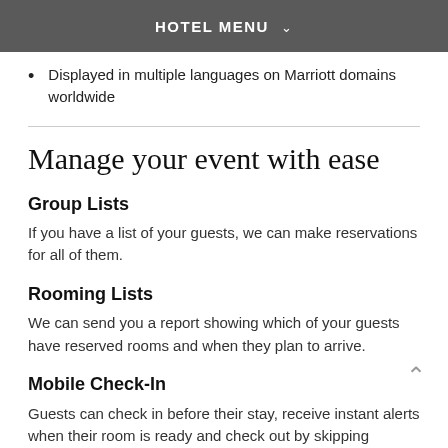HOTEL MENU
Displayed in multiple languages on Marriott domains worldwide
Manage your event with ease
Group Lists
If you have a list of your guests, we can make reservations for all of them.
Rooming Lists
We can send you a report showing which of your guests have reserved rooms and when they plan to arrive.
Mobile Check-In
Guests can check in before their stay, receive instant alerts when their room is ready and check out by skipping